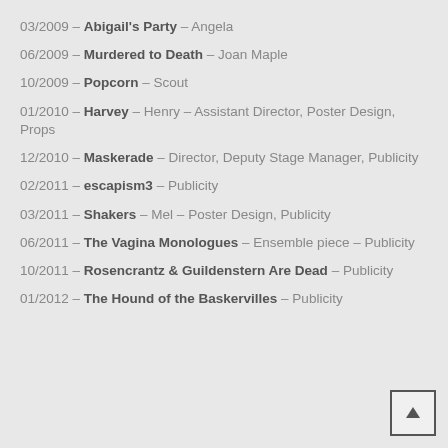03/2009 – Abigail's Party – Angela
06/2009 – Murdered to Death – Joan Maple
10/2009 – Popcorn – Scout
01/2010 – Harvey – Henry – Assistant Director, Poster Design, Props
12/2010 – Maskerade – Director, Deputy Stage Manager, Publicity
02/2011 – escapism3 – Publicity
03/2011 – Shakers – Mel – Poster Design, Publicity
06/2011 – The Vagina Monologues – Ensemble piece – Publicity
10/2011 – Rosencrantz & Guildenstern Are Dead – Publicity
01/2012 – The Hound of the Baskervilles – Publicity